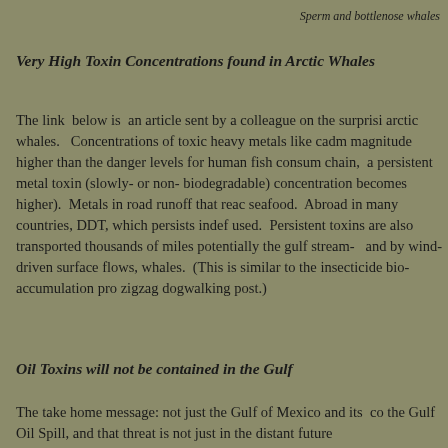Sperm and bottlenose whales
Very High Toxin Concentrations found in Arctic Whales
The link  below is  an article sent by a colleague on the surprisi arctic whales.   Concentrations of toxic heavy metals like cadm magnitude higher than the danger levels for human fish consum chain,  a persistent metal toxin (slowly- or non- biodegradable) concentration becomes higher).  Metals in road runoff that reac seafood.  Abroad in many countries, DDT, which persists indef used.  Persistent toxins are also transported thousands of miles potentially the gulf stream-   and by wind-driven surface flows, whales.  (This is similar to the insecticide bio-accumulation pro zigzag dogwalking post.)
Oil Toxins will not be contained in the Gulf
The take home message: not just the Gulf of Mexico and its  co the Gulf Oil Spill, and that threat is not just in the distant future